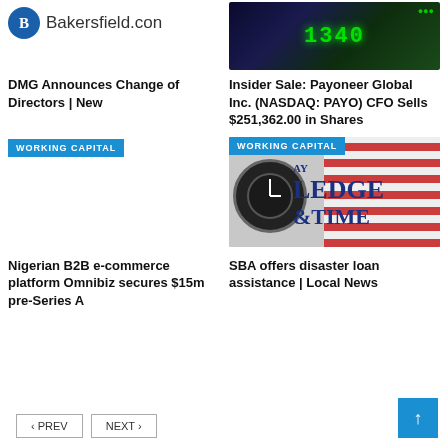[Figure (logo): Bakersfield.com logo with blue circular badge and site name]
[Figure (photo): Stock market ticker board showing green LED numbers including 1340]
DMG Announces Change of Directors | New
Insider Sale: Payoneer Global Inc. (NASDAQ: PAYO) CFO Sells $251,362.00 in Shares
[Figure (other): Working Capital badge/label blue rectangle]
[Figure (other): Working Capital badge with Ledge & Time newspaper logo photo showing clock and flag]
Nigerian B2B e-commerce platform Omnibiz secures $15m pre-Series A
SBA offers disaster loan assistance | Local News